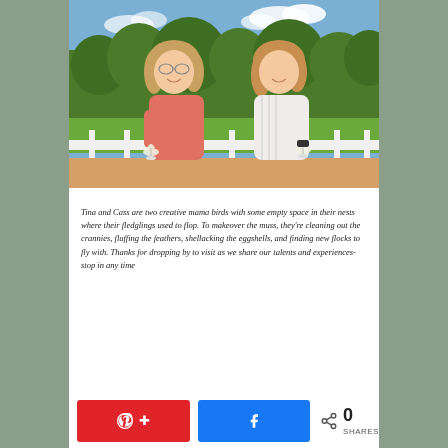[Figure (photo): Two women smiling and holding wine glasses, standing on a white railing deck/balcony outdoors with green trees and blue sky in the background. The woman on the left wears a pink/coral top and glasses, the woman on the right wears a white striped top.]
Tina and Cass are two creative mama birds with some empty space in their nests where their fledglings used to flop. To makeover the muss, they're cleaning out the crannies, fluffing the feathers, shellacking the eggshells, and finding new flocks to fly with. Thanks for dropping by to visit as we share our talents and experiences- stop in any time